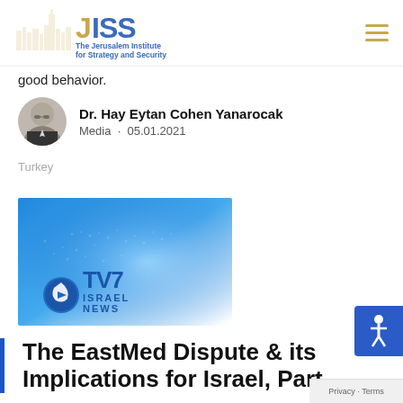[Figure (logo): JISS - The Jerusalem Institute for Strategy and Security logo]
good behavior.
Dr. Hay Eytan Cohen Yanarocak
Media · 05.01.2021
Turkey
[Figure (screenshot): TV7 Israel News banner image with blue background]
The EastMed Dispute & its Implications for Israel, Part